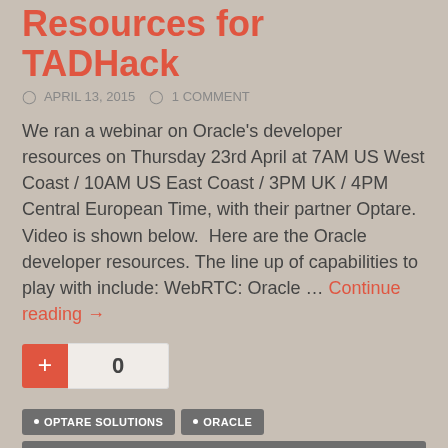Resources for TADHack
APRIL 13, 2015   1 COMMENT
We ran a webinar on Oracle's developer resources on Thursday 23rd April at 7AM US West Coast / 10AM US East Coast / 3PM UK / 4PM Central European Time, with their partner Optare. Video is shown below.  Here are the Oracle developer resources. The line up of capabilities to play with include: WebRTC: Oracle ... Continue reading →
0
OPTARE SOLUTIONS
ORACLE
ORACLE COMMUNICATIONS WEBRTC SESSION CONTROLLER
PAYMENT INTERFACE
SHORT MESSAGING INTERFACE
SUPPORT
TERMINAL LOCATION INTERFACE
WEBRTC